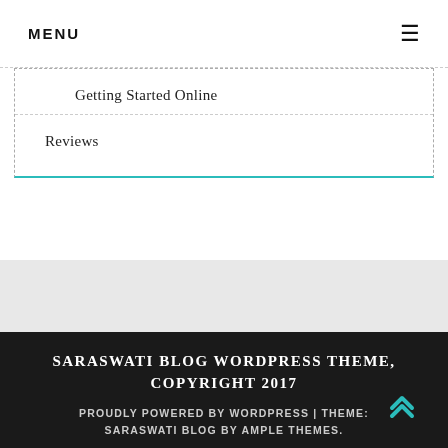MENU
Getting Started Online
Reviews
SARASWATI BLOG WORDPRESS THEME, COPYRIGHT 2017
PROUDLY POWERED BY WORDPRESS | THEME: SARASWATI BLOG BY AMPLE THEMES.